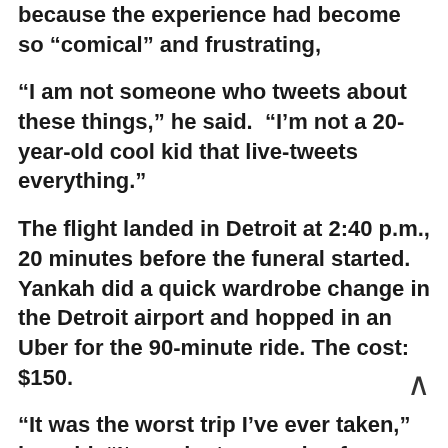Yankah said he'd tweeting about Spirit because the experience had become so “comical” and frustrating,
“I am not someone who tweets about these things,” he said.  “I’m not a 20-year-old cool kid that live-tweets everything.”
The flight landed in Detroit at 2:40 p.m., 20 minutes before the funeral started. Yankah did a quick wardrobe change in the Detroit airport and hopped in an Uber for the 90-minute ride. The cost: $150.
“It was the worst trip I’ve ever taken,” he said. “It was just a parade of incompetency. And it made me miss (most of) a funeral that meant a lot to me.”
He called Spirit’s $50 flight vouchers “laughable.”